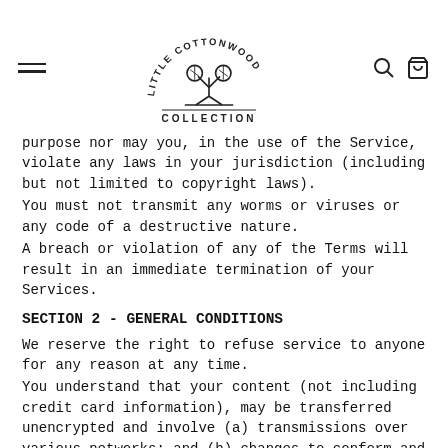Little Cottonwood Collection (logo with navigation icons)
purpose nor may you, in the use of the Service, violate any laws in your jurisdiction (including but not limited to copyright laws).
You must not transmit any worms or viruses or any code of a destructive nature.
A breach or violation of any of the Terms will result in an immediate termination of your Services.
SECTION 2 - GENERAL CONDITIONS
We reserve the right to refuse service to anyone for any reason at any time.
You understand that your content (not including credit card information), may be transferred unencrypted and involve (a) transmissions over various networks; and (b) changes to conform and adapt to technical requirements of connecting